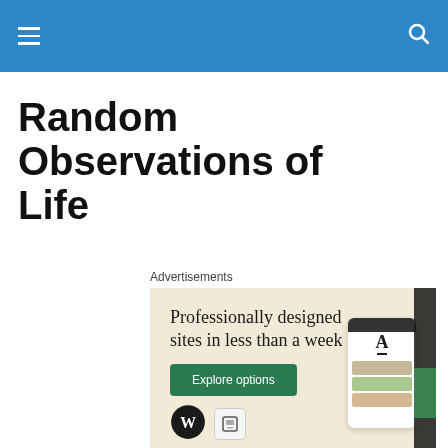Random Observations of Life
Advertisements
[Figure (illustration): WordPress advertisement banner with beige background showing 'Professionally designed sites in less than a week' with an 'Explore options' green button, WordPress logo, and mock website/phone screenshots on the right side]